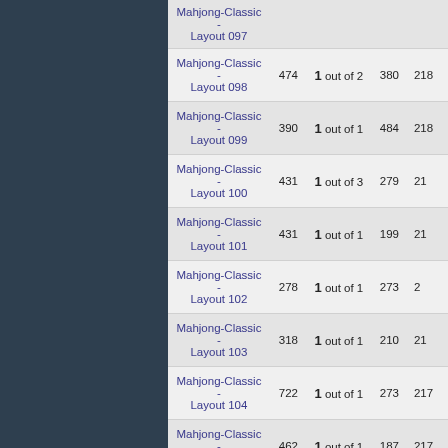| Layout | Moves | Result | Score | Best |
| --- | --- | --- | --- | --- |
| Mahjong-Classic - Layout 097 |  |  |  |  |
| Mahjong-Classic - Layout 098 | 474 | 1 out of 2 | 380 | 218 |
| Mahjong-Classic - Layout 099 | 390 | 1 out of 1 | 484 | 218 |
| Mahjong-Classic - Layout 100 | 431 | 1 out of 3 | 279 | 21 |
| Mahjong-Classic - Layout 101 | 431 | 1 out of 1 | 199 | 21 |
| Mahjong-Classic - Layout 102 | 278 | 1 out of 1 | 273 | 2 |
| Mahjong-Classic - Layout 103 | 318 | 1 out of 1 | 210 | 21 |
| Mahjong-Classic - Layout 104 | 722 | 1 out of 1 | 273 | 217 |
| Mahjong-Classic - Layout 105 | 462 | 1 out of 1 | 187 | 217 |
| Mahjong-Classic - Layout 106 | 302 | 1 out of 1 | 188 | 21 |
| Mahjong-Classic - Layout 107 | 260 | 1 out of 1 | 304 | 21 |
| Mahjong-Classic - Layout 108 | 458 | 1 out of 2 | 221 | 105 |